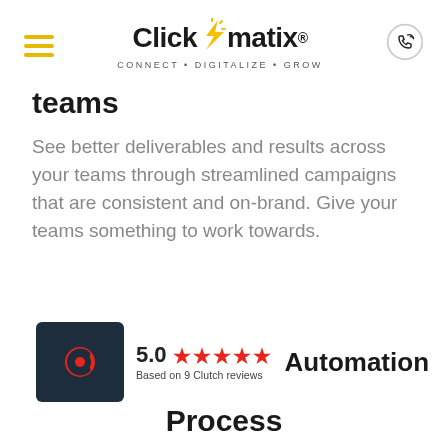Clickmatix® CONNECT • DIGITALIZE • GROW
teams
See better deliverables and results across your teams through streamlined campaigns that are consistent and on-brand. Give your teams something to work towards.
[Figure (logo): Clutch badge with C logo on dark background, 5.0 rating with 5 red stars, Based on 9 Clutch reviews]
Automation Process